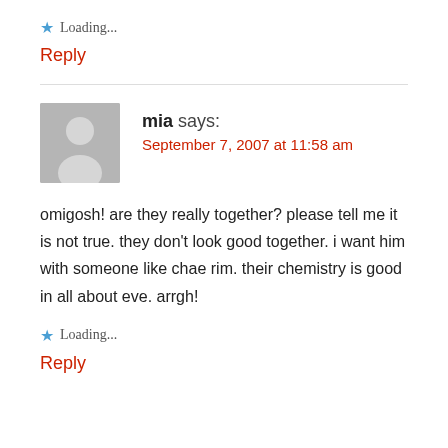Loading...
Reply
[Figure (other): Horizontal divider line]
[Figure (illustration): Gray avatar placeholder image with silhouette of a person]
mia says:
September 7, 2007 at 11:58 am
omigosh! are they really together? please tell me it is not true. they don't look good together. i want him with someone like chae rim. their chemistry is good in all about eve. arrgh!
Loading...
Reply